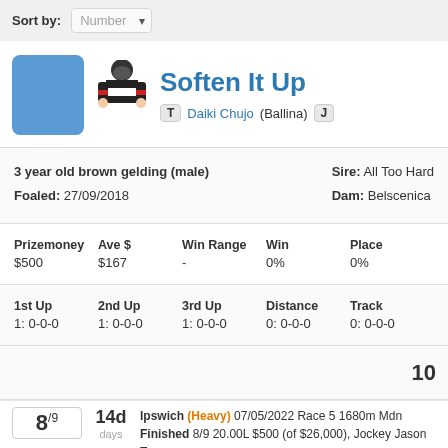Sort by: Number
Soften It Up
T  Daiki Chujo (Ballina)  J
3 year old brown gelding (male)
Foaled: 27/09/2018
Sire: All Too Hard
Dam: Belscenica
| Prizemoney | Ave $ | Win Range | Win | Place |
| --- | --- | --- | --- | --- |
| $500 | $167 | - | 0% | 0% |
| 1st Up | 2nd Up | 3rd Up | Distance | Track |
| --- | --- | --- | --- | --- |
| 1: 0-0-0 | 1: 0-0-0 | 1: 0-0-0 | 0: 0-0-0 | 0: 0-0-0 |
10
8/9  14d days  Ipswich (Heavy) 07/05/2022 Race 5 1680m Mdn Finished 8/9 20.00L $500 (of $26,000), Jockey Jason Tay...